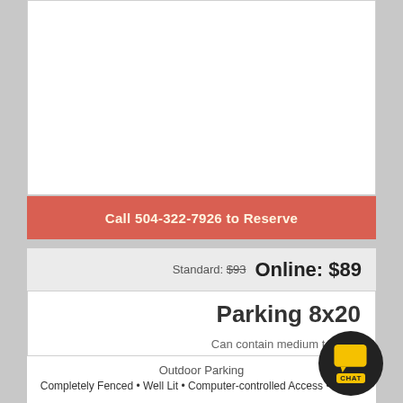[Figure (photo): White empty image placeholder area for a parking facility photo]
Call 504-322-7926 to Reserve
Standard: $93   Online: $89
Parking 8x20
Can contain medium to large car, small boat o…
Outdoor Parking
Completely Fenced • Well Lit • Computer-controlled Access • Digital